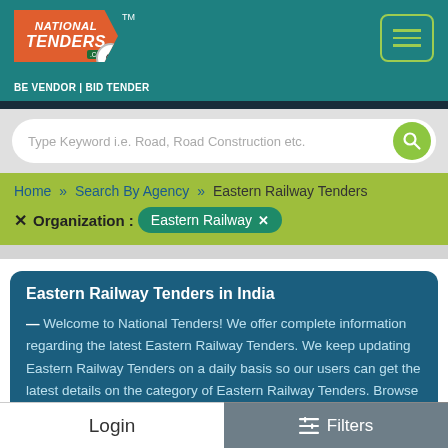[Figure (logo): National Tenders .com logo with orange arrow shape, TM mark, and tagline BE VENDOR | BID TENDER on teal background]
Type Keyword i.e. Road, Road Construction etc.
Home » Search By Agency » Eastern Railway Tenders
✕ Organization : Eastern Railway ✕
Eastern Railway Tenders in India
— Welcome to National Tenders! We offer complete information regarding the latest Eastern Railway Tenders. We keep updating Eastern Railway Tenders on a daily basis so our users can get the latest details on the category of Eastern Railway Tenders. Browse the best tenders of India from the
Login
≡ Filters